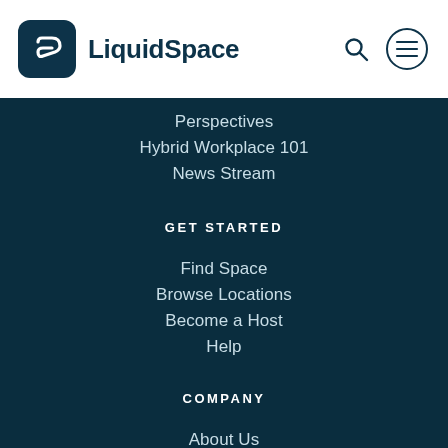LiquidSpace
Perspectives
Hybrid Workplace 101
News Stream
GET STARTED
Find Space
Browse Locations
Become a Host
Help
COMPANY
About Us
Careers
COVID Updates